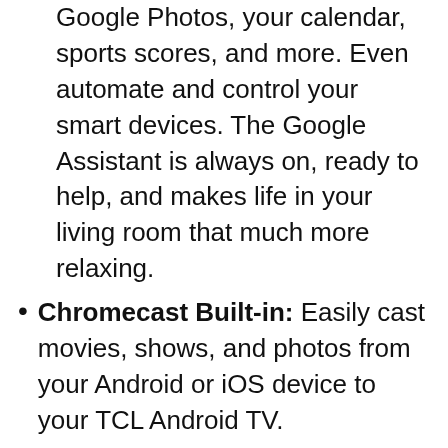Google Photos, your calendar, sports scores, and more. Even automate and control your smart devices. The Google Assistant is always on, ready to help, and makes life in your living room that much more relaxing.
Chromecast Built-in: Easily cast movies, shows, and photos from your Android or iOS device to your TCL Android TV.
Speedy, simplified home screen: Simplified home screen allows you to enjoy all your entertainment in one place. Get quick access to the apps